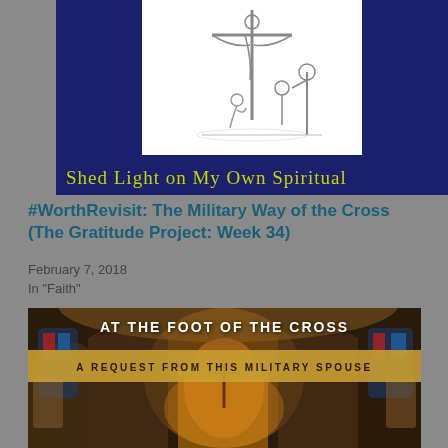[Figure (illustration): Dark navy blue background with a pencil sketch of a crucifix with a figure kneeling at its base and a person holding a staff. Yellow-green handwritten text at the bottom reads 'Shed Light on My Own Spiritual']
#WorthRevisit: The Military Way of the Cross (The Gratitude Project: Week 34)
February 7, 2018
In "Faith"
[Figure (photo): Photo of a ornate Catholic church interior with Gothic arches, stained glass windows, and a crucifix on the altar. Overlaid text reads 'AT THE FOOT OF THE CROSS' in white and 'A REQUEST FROM THIS MILITARY SPOUSE' on a golden banner.]